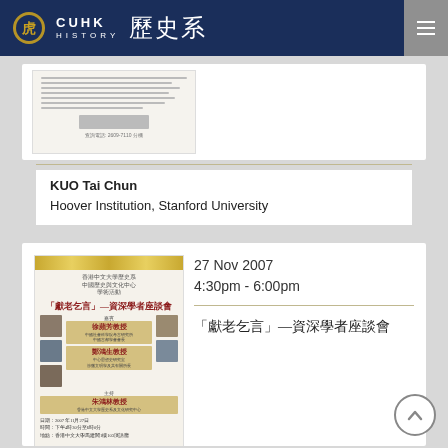CUHK HISTORY 歷史系
[Figure (photo): Thumbnail of a document/flyer (partially visible)]
KUO Tai Chun
Hoover Institution, Stanford University
27 Nov 2007
4:30pm - 6:00pm
[Figure (photo): Event poster for 「獻老乞言」—資深學者座談會 featuring speakers 徐蘋芳教授, 鄭鴻生教授, and 朱鴻林教授, dated 2007年11月27日]
「獻老乞言」—資深學者座談會
徐蘋芳